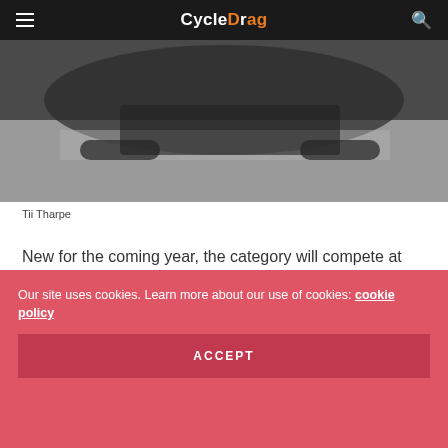CycleDrag
[Figure (photo): Motorcycle drag racing photo showing the underside/rear of a motorcycle at speed on a drag strip, dark and shadowy image]
Tii Tharpe
New for the coming year, the category will compete at the thrilling Lucas Oil NHRA Nationals, August 16-19, in Brainerd, Minn. which features some of the most passionate fans in the country at a scenic facility that is known for producing record speeds.
Our site uses cookies. Learn more about our use of cookies: cookie policy
ACCEPT